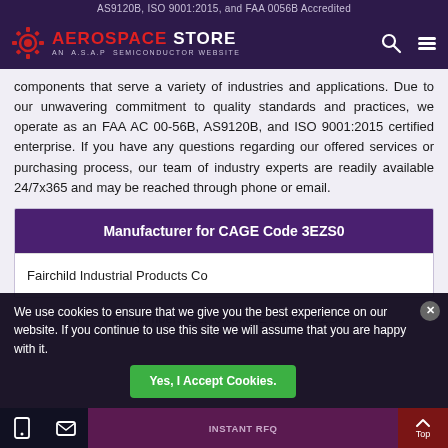AS9120B, ISO 9001:2015, and FAA 0056B Accredited
[Figure (logo): Aerospace Store logo with gear icon, red and white text, AN A.S.A.P Semiconductor Website subtitle]
components that serve a variety of industries and applications. Due to our unwavering commitment to quality standards and practices, we operate as an FAA AC 00-56B, AS9120B, and ISO 9001:2015 certified enterprise. If you have any questions regarding our offered services or purchasing process, our team of industry experts are readily available 24/7x365 and may be reached through phone or email.
| Manufacturer for CAGE Code 3EZS0 |
| --- |
| Fairchild Industrial Products Co |
We use cookies to ensure that we give you the best experience on our website. If you continue to use this site we will assume that you are happy with it.
Part Numbers List for CAGE Code 3EZS0 | Yes, I Accept Cookies. | INSTANT RFQ | Top